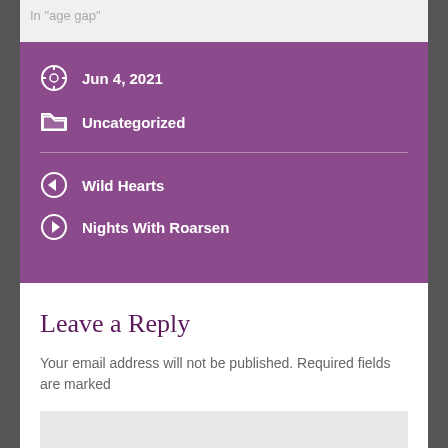In "age gap"
Jun 4, 2021
Uncategorized
Wild Hearts
Nights With Roarsen
Leave a Reply
Your email address will not be published. Required fields are marked